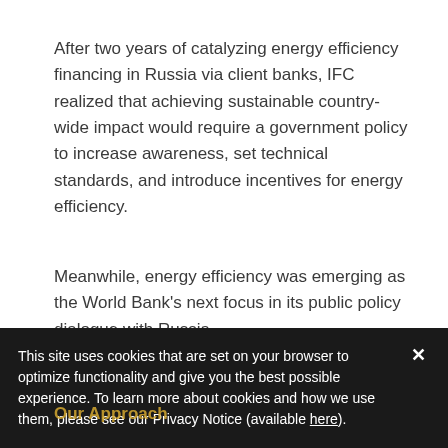After two years of catalyzing energy efficiency financing in Russia via client banks, IFC realized that achieving sustainable country-wide impact would require a government policy to increase awareness, set technical standards, and introduce incentives for energy efficiency.
Meanwhile, energy efficiency was emerging as the World Bank's next focus in its public policy dialogue with Russia.
This site uses cookies that are set on your browser to optimize functionality and give you the best possible experience. To learn more about cookies and how we use them, please see our Privacy Notice (available here).